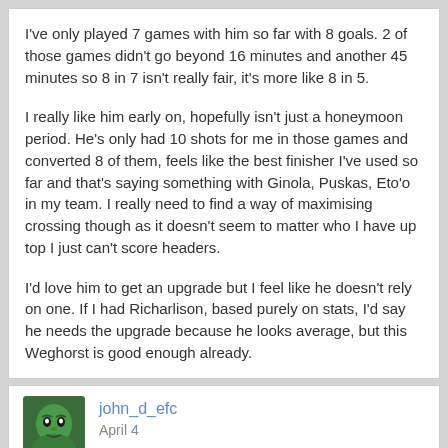I've only played 7 games with him so far with 8 goals. 2 of those games didn't go beyond 16 minutes and another 45 minutes so 8 in 7 isn't really fair, it's more like 8 in 5.

I really like him early on, hopefully isn't just a honeymoon period. He's only had 10 shots for me in those games and converted 8 of them, feels like the best finisher I've used so far and that's saying something with Ginola, Puskas, Eto'o in my team. I really need to find a way of maximising crossing though as it doesn't seem to matter who I have up top I just can't score headers.

I'd love him to get an upgrade but I feel like he doesn't rely on one. If I had Richarlison, based purely on stats, I'd say he needs the upgrade because he looks average, but this Weghorst is good enough already.
john_d_efc
April 4
mypetfrog wrote: »